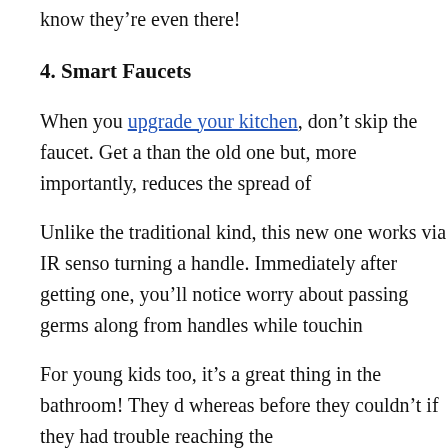know they're even there!
4. Smart Faucets
When you upgrade your kitchen, don't skip the faucet. Get a than the old one but, more importantly, reduces the spread of
Unlike the traditional kind, this new one works via IR senso turning a handle. Immediately after getting one, you'll notice worry about passing germs along from handles while touchin
For young kids too, it's a great thing in the bathroom! They d whereas before they couldn't if they had trouble reaching the
5. Laundry Folding Station
If you're tired of folding laundry on the bed or couch, then c Put a narrow table at the side, if there's room, where you can clothing items.